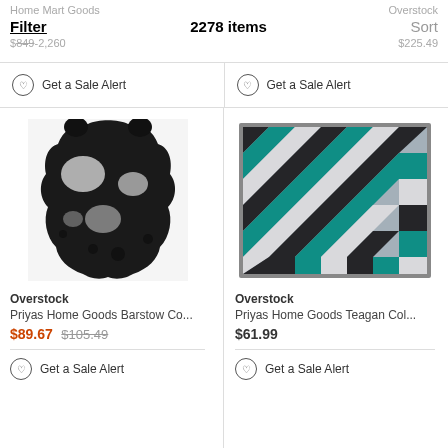Filter  2278 items  Sort
Home Mart Goods | Overstock
$849-2,260 | $225.49
Get a Sale Alert | Get a Sale Alert
[Figure (photo): Black and white cowhide rug product photo]
Overstock
Priyas Home Goods Barstow Co...
$89.67 $105.49
Get a Sale Alert
[Figure (photo): Teal and black geometric patterned area rug with grey border]
Overstock
Priyas Home Goods Teagan Col...
$61.99
Get a Sale Alert